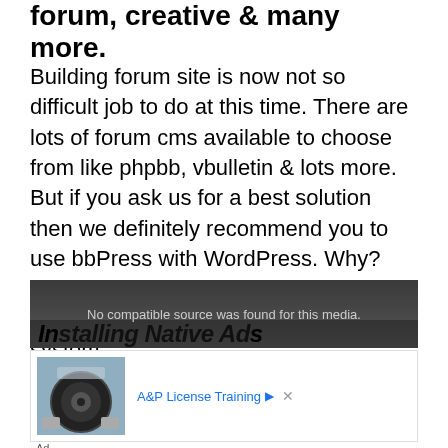forum, creative & many more.
Building forum site is now not so difficult job to do at this time. There are lots of forum cms available to choose from like phpbb, vbulletin & lots more. But if you ask us for a best solution then we definitely recommend you to use bbPress with WordPress. Why? Well, WordPress is the most popular & very easy to use content management system.
[Figure (screenshot): Video player showing 'No compatible source was found for this media.' overlay with title 'Installing Native Ads' partially visible below in bold italic text on dark background]
[Figure (photo): Advertisement showing an airplane engine/turbine with 'A&P License Training' text and ad label below]